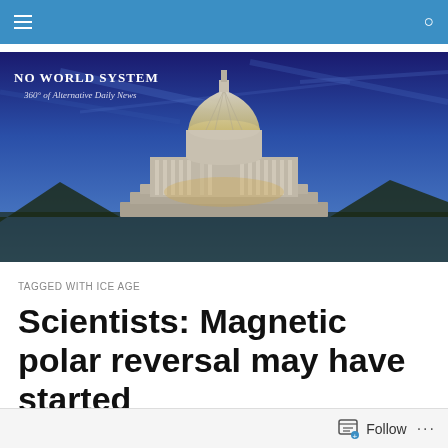Navigation bar with hamburger menu and search icon
[Figure (photo): Banner image showing the US Capitol building at dusk/night under a deep blue sky, with text overlay 'NO WORLD SYSTEM' and '360° of Alternative Daily News']
TAGGED WITH ICE AGE
Scientists: Magnetic polar reversal may have started
Scientists: Magnetic polar reversal may have started
Follow